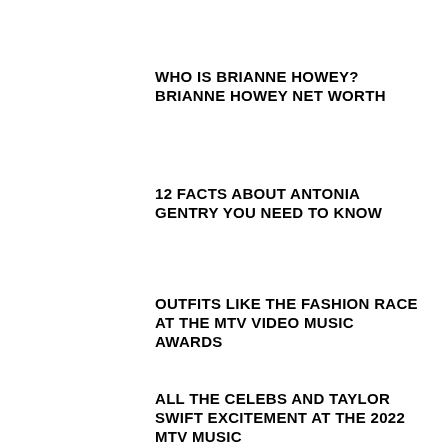WHO IS BRIANNE HOWEY? BRIANNE HOWEY NET WORTH
12 FACTS ABOUT ANTONIA GENTRY YOU NEED TO KNOW
OUTFITS LIKE THE FASHION RACE AT THE MTV VIDEO MUSIC AWARDS
ALL THE CELEBS AND TAYLOR SWIFT EXCITEMENT AT THE 2022 MTV MUSIC